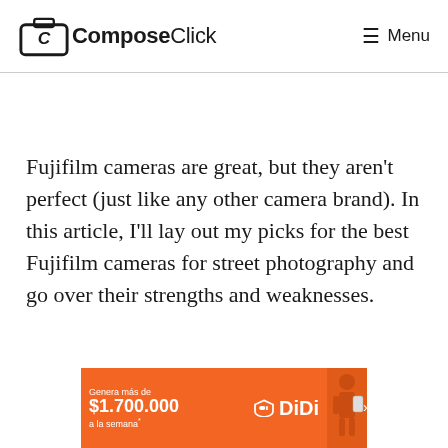ComposeClick — Menu
Fujifilm cameras are great, but they aren't perfect (just like any other camera brand). In this article, I'll lay out my picks for the best Fujifilm cameras for street photography and go over their strengths and weaknesses.
[Figure (infographic): DiDi advertisement banner: orange background showing 'Genera más de $1.700.000 a la semana*' text on left, DiDi logo in center with shield icon, and a person holding a phone on the right.]